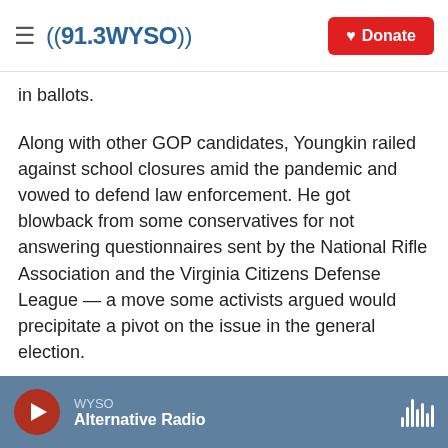((91.3WYSO)) | Donate
in ballots.
Along with other GOP candidates, Youngkin railed against school closures amid the pandemic and vowed to defend law enforcement. He got blowback from some conservatives for not answering questionnaires sent by the National Rifle Association and the Virginia Citizens Defense League — a move some activists argued would precipitate a pivot on the issue in the general election.
Rich Anderson, chair of the state GOP, said the party would unite beyond its statewide candidates
WYSO | Alternative Radio